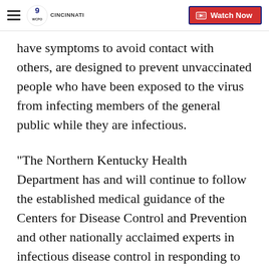WCPO 9 Cincinnati | Watch Now
have symptoms to avoid contact with others, are designed to prevent unvaccinated people who have been exposed to the virus from infecting members of the general public while they are infectious.
"The Northern Kentucky Health Department has and will continue to follow the established medical guidance of the Centers for Disease Control and Prevention and other nationally acclaimed experts in infectious disease control in responding to the chickenpox outbreak among Assumption Academy students. Our first concern is always protection of the public health and implementing reasonable, medically